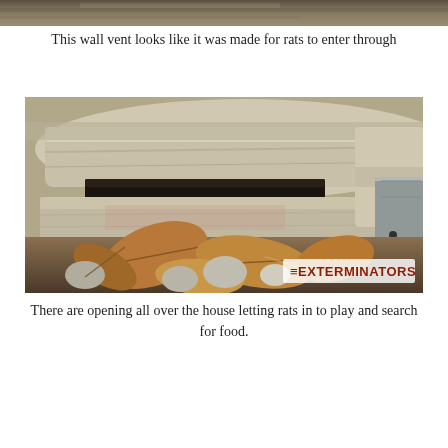[Figure (photo): Partial view of a wall vent or opening, cropped at top of page]
This wall vent looks like it was made for rats to enter through
[Figure (photo): Close-up photo of stone foundation with a gap/opening between stones, surrounded by dry leaves and debris. Watermark reads 'THE EXTERMINATORS' in bottom right corner.]
There are opening all over the house letting rats in to play and search for food.